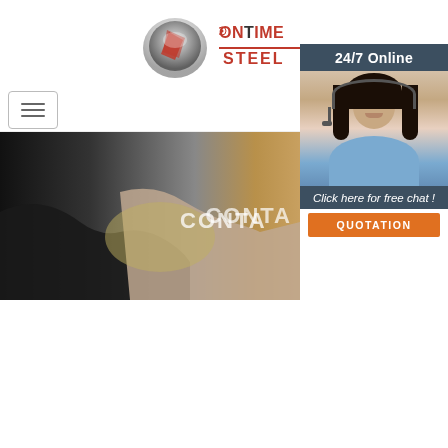[Figure (logo): OnTime Steel company logo with metallic circular graphic and red text reading ONTIME STEEL]
[Figure (infographic): Navigation hamburger menu icon (three horizontal lines) in a rounded rectangle border]
[Figure (photo): Handshake photo with two people shaking hands, text CONTA visible, dark suit on left hand]
[Figure (photo): Customer service representative woman with headset, dark hair, smiling, blue shirt, on dark blue-gray background with 24/7 Online label, Click here for free chat text, and orange QUOTATION button]
Home > Products
top quality inexpensive types steel sheet pilo